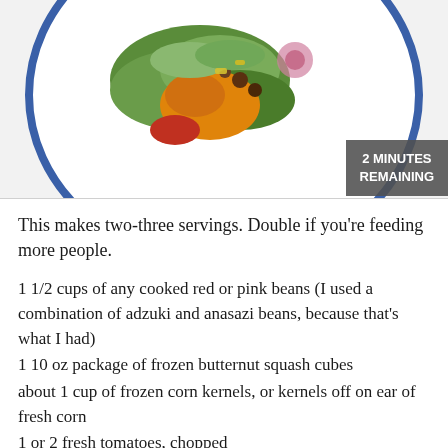[Figure (photo): A plate of salad with greens, orange butternut squash, beans, and colorful vegetables on a white plate with blue rim border]
This makes two-three servings. Double if you're feeding more people.
1 1/2 cups of any cooked red or pink beans (I used a combination of adzuki and anasazi beans, because that's what I had)
1 10 oz package of frozen butternut squash cubes
about 1 cup of frozen corn kernels, or kernels off on ear of  fresh corn
1 or 2 fresh tomatoes, chopped
1/2  of a large onion (or one medium sized one)
garlic or garlic granules, to taste
1 recipe of marinade for Bacon Style Eggplant Chips